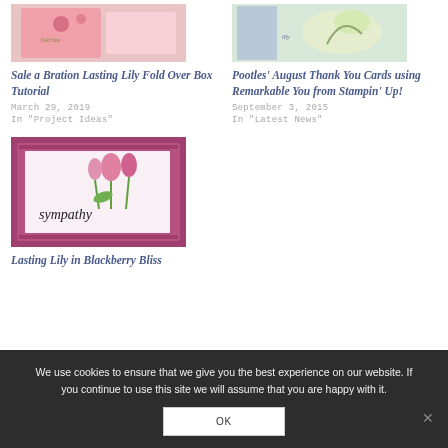[Figure (photo): Thumbnail image of a pink polka dot box/card craft project]
Sale a Bration Lasting Lily Fold Over Box Tutorial
March 29, 2019
In "Project Ideas"
[Figure (photo): Thumbnail image of a floral thank you card with lily flower]
Pootles' August Thank You Cards using Remarkable You from Stampin' Up!
September 3, 2015
In "Latest News"
[Figure (photo): Sympathy card with pink lily flowers and cursive 'sympathy' text on dark pink background]
Lasting Lily in Blackberry Bliss
We use cookies to ensure that we give you the best experience on our website. If you continue to use this site we will assume that you are happy with it.
OK